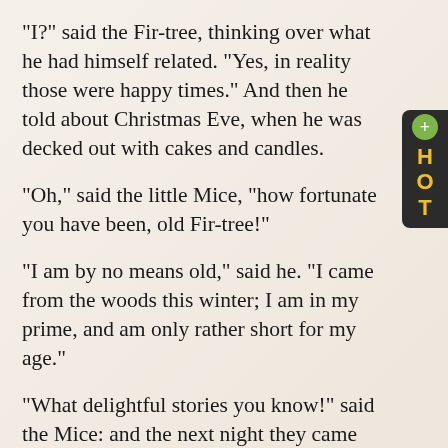"I?" said the Fir-tree, thinking over what he had himself related. "Yes, in reality those were happy times." And then he told about Christmas Eve, when he was decked out with cakes and candles.
"Oh," said the little Mice, "how fortunate you have been, old Fir-tree!"
"I am by no means old," said he. "I came from the woods this winter; I am in my prime, and am only rather short for my age."
"What delightful stories you know!" said the Mice: and the next night they came with four other little Mice, who were to hear what the tree recounted; and the more he related, the more plainly he remembered all himself; and it appeared as if those times had really been happy times. "But they may still come--they may still